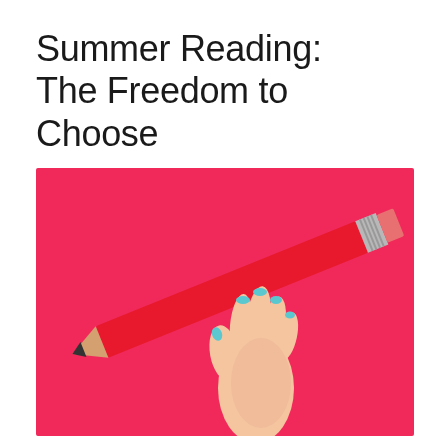Summer Reading: The Freedom to Choose
[Figure (photo): A hand with blue painted nails holding a large red pencil diagonally against a hot pink background]